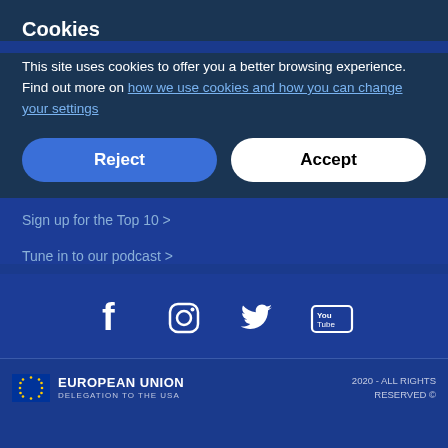Cookies
This site uses cookies to offer you a better browsing experience. Find out more on how we use cookies and how you can change your settings
Reject
Accept
Sign up for the Top 10 >
Tune in to our podcast >
[Figure (infographic): Social media icons: Facebook, Instagram, Twitter, YouTube]
EUROPEAN UNION DELEGATION TO THE USA  2020 - ALL RIGHTS RESERVED ©